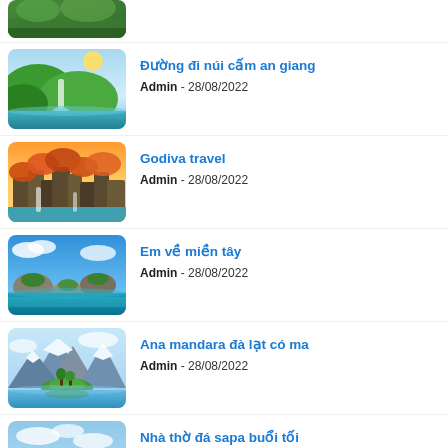[Figure (photo): Partial thumbnail of a nature/landscape scene at the very top (cropped)]
Đường đi núi cấm an giang
Admin - 28/08/2022
Godiva travel
Admin - 28/08/2022
Em về miền tây
Admin - 28/08/2022
Ana mandara đà lạt có ma
Admin - 28/08/2022
Nhà thờ đá sapa buổi tối
Admin - 28/08/2022